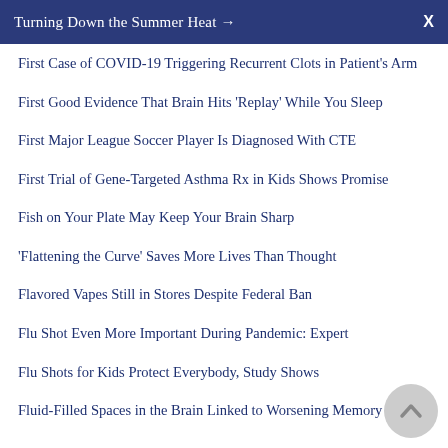Turning Down the Summer Heat →
First Case of COVID-19 Triggering Recurrent Clots in Patient's Arm
First Good Evidence That Brain Hits 'Replay' While You Sleep
First Major League Soccer Player Is Diagnosed With CTE
First Trial of Gene-Targeted Asthma Rx in Kids Shows Promise
Fish on Your Plate May Keep Your Brain Sharp
'Flattening the Curve' Saves More Lives Than Thought
Flavored Vapes Still in Stores Despite Federal Ban
Flu Shot Even More Important During Pandemic: Expert
Flu Shots for Kids Protect Everybody, Study Shows
Fluid-Filled Spaces in the Brain Linked to Worsening Memory